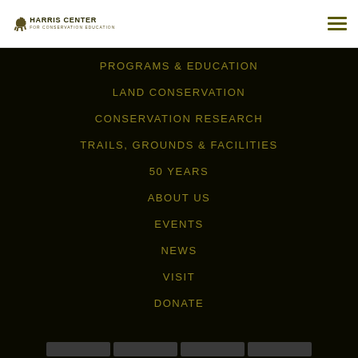Harris Center for Conservation Education
PROGRAMS & EDUCATION
LAND CONSERVATION
CONSERVATION RESEARCH
TRAILS, GROUNDS & FACILITIES
50 YEARS
ABOUT US
EVENTS
NEWS
VISIT
DONATE